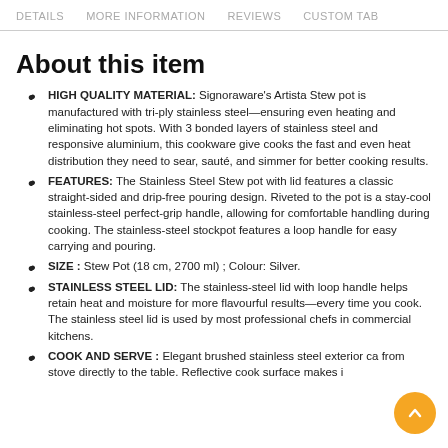DETAILS   MORE INFORMATION   REVIEWS   CUSTOM TAB
About this item
HIGH QUALITY MATERIAL: Signoraware's Artista Stew pot is manufactured with tri-ply stainless steel—ensuring even heating and eliminating hot spots. With 3 bonded layers of stainless steel and responsive aluminium, this cookware give cooks the fast and even heat distribution they need to sear, sauté, and simmer for better cooking results.
FEATURES: The Stainless Steel Stew pot with lid features a classic straight-sided and drip-free pouring design. Riveted to the pot is a stay-cool stainless-steel perfect-grip handle, allowing for comfortable handling during cooking. The stainless-steel stockpot features a loop handle for easy carrying and pouring.
SIZE : Stew Pot (18 cm, 2700 ml) ; Colour: Silver.
STAINLESS STEEL LID: The stainless-steel lid with loop handle helps retain heat and moisture for more flavourful results—every time you cook. The stainless steel lid is used by most professional chefs in commercial kitchens.
COOK AND SERVE : Elegant brushed stainless steel exterior ca… from stove directly to the table. Reflective cook surface makes i…